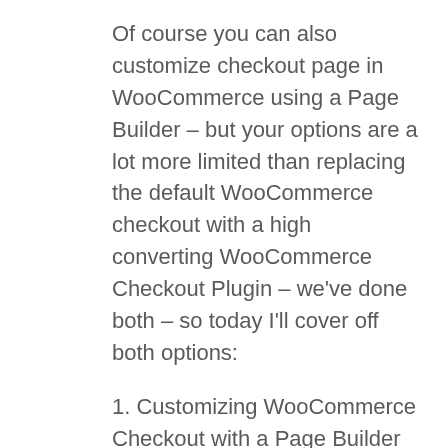Of course you can also customize checkout page in WooCommerce using a Page Builder – but your options are a lot more limited than replacing the default WooCommerce checkout with a high converting WooCommerce Checkout Plugin – we've done both – so today I'll cover off both options:
1. Customizing WooCommerce Checkout with a Page Builder
2. Customizing WooCommerce Checkout